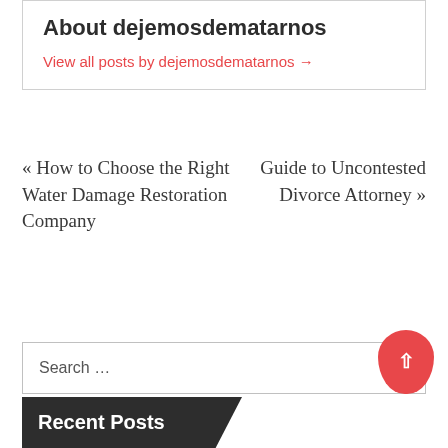About dejemosdematarnos
View all posts by dejemosdematarnos →
« How to Choose the Right Water Damage Restoration Company
Guide to Uncontested Divorce Attorney »
Search …
Recent Posts